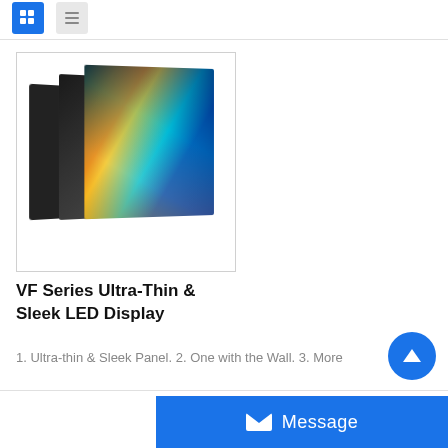[Grid view icon] [List view icon]
[Figure (photo): LED display panels stacked showing colorful display screen with vibrant gradient colors (orange, teal, blue), product image for VF Series Ultra-Thin & Sleek LED Display]
VF Series Ultra-Thin & Sleek LED Display
1. Ultra-thin & Sleek Panel. 2. One with the Wall. 3. More